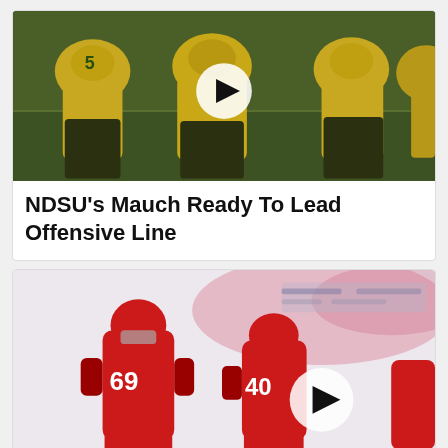[Figure (photo): Football players in yellow and green NDSU uniforms on a green field, with a play button overlay in the center]
NDSU's Mauch Ready To Lead Offensive Line
[Figure (photo): Football players in red Nebraska uniforms, players #69 and #40 visible, with confetti and a play button overlay, partially washed out image]